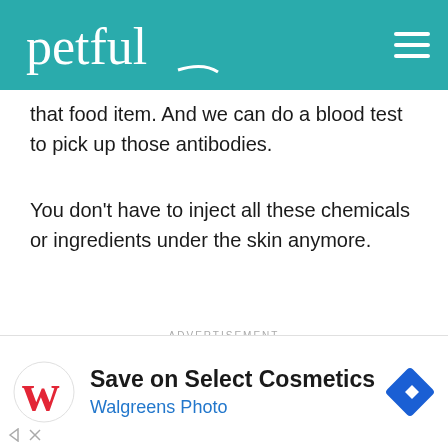petful
that food item. And we can do a blood test to pick up those antibodies.
You don't have to inject all these chemicals or ingredients under the skin anymore.
[Figure (screenshot): Advertisement widget with 'Search for' bar and teal search results listing '1. 10 Best Dry Dog Food' and partial 'Most Healthy Dog Food']
[Figure (screenshot): Bottom advertisement banner: Walgreens logo, 'Save on Select Cosmetics', 'Walgreens Photo', navigation arrow icon]